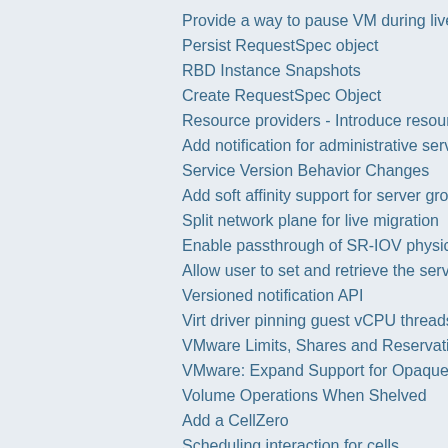Provide a way to pause VM during live migration
Persist RequestSpec object
RBD Instance Snapshots
Create RequestSpec Object
Resource providers - Introduce resource classes
Add notification for administrative service status c…
Service Version Behavior Changes
Add soft affinity support for server group
Split network plane for live migration
Enable passthrough of SR-IOV physical functions …
Allow user to set and retrieve the server Description
Versioned notification API
Virt driver pinning guest vCPU threads policies
VMware Limits, Shares and Reservations
VMware: Expand Support for Opaque Networks
Volume Operations When Shelved
Add a CellZero
Scheduling interaction for cells
Adding new nova-manage cmd to list compute no…
Detach and attach boot volumes
Distribute PCI Requests Across Multiple Devices
Expose host capabilities
Expose Quiesce Unquiesce API